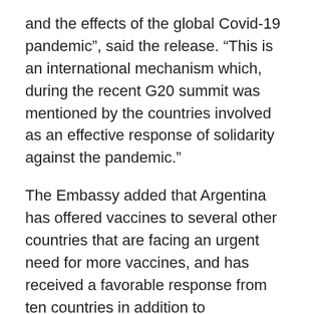and the effects of the global Covid-19 pandemic”, said the release. “This is an international mechanism which, during the recent G20 summit was mentioned by the countries involved as an effective response of solidarity against the pandemic.”
The Embassy added that Argentina has offered vaccines to several other countries that are facing an urgent need for more vaccines, and has received a favorable response from ten countries in addition to Mozambique. After receiving over seven million doses of vaccine, which has allowed it to speed up its own vaccination programme, giving full protection to much of the population, Argentina says it can now afford to donate vaccines to countries in greater need.
The release says that the Argentine authorities are motivated by principles of solidarity and fraternity with the Mozambican people and with other countries that require the vaccine. It added that “this donation of AstraZeneca